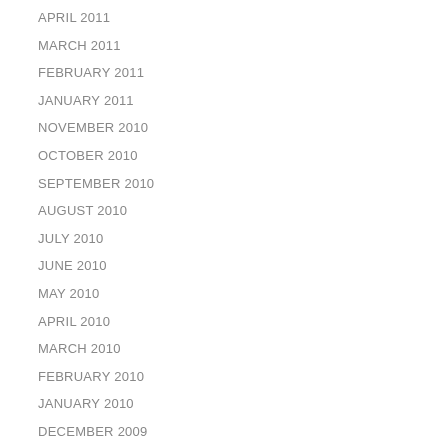APRIL 2011
MARCH 2011
FEBRUARY 2011
JANUARY 2011
NOVEMBER 2010
OCTOBER 2010
SEPTEMBER 2010
AUGUST 2010
JULY 2010
JUNE 2010
MAY 2010
APRIL 2010
MARCH 2010
FEBRUARY 2010
JANUARY 2010
DECEMBER 2009